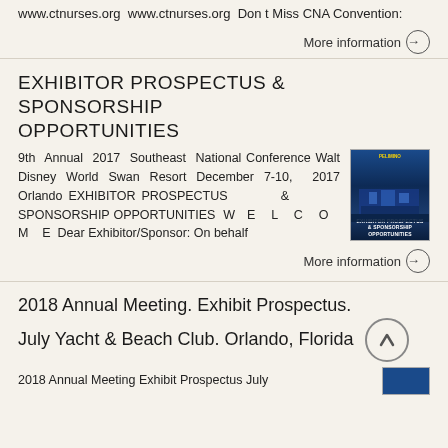www.ctnurses.org www.ctnurses.org Don t Miss CNA Convention:
More information →
EXHIBITOR PROSPECTUS & SPONSORSHIP OPPORTUNITIES
9th Annual 2017 Southeast National Conference Walt Disney World Swan Resort December 7-10, 2017 Orlando EXHIBITOR PROSPECTUS & SPONSORSHIP OPPORTUNITIES W E L C O M E Dear Exhibitor/Sponsor: On behalf
[Figure (photo): Thumbnail image of Walt Disney World Swan Resort at night, blue-toned promotional cover image for exhibitor prospectus]
More information →
2018 Annual Meeting. Exhibit Prospectus. July Yacht & Beach Club. Orlando, Florida
2018 Annual Meeting Exhibit Prospectus July
[Figure (photo): Small blue thumbnail image, likely a conference promotional image]